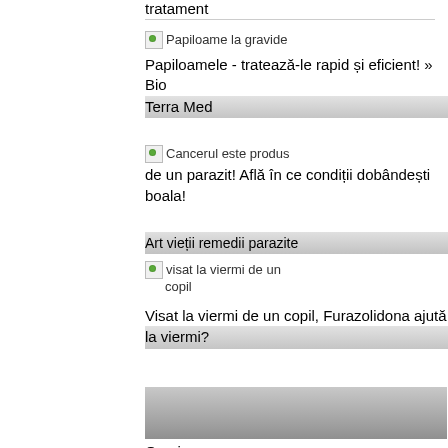tratament
[Figure (other): Small thumbnail image placeholder labeled Papiloame la gravide]
Papiloamele - tratează-le rapid și eficient! » Bio Terra Med
[Figure (other): Small thumbnail image placeholder labeled Cancerul este produs de un parazit! Află în ce condiții dobândești boala!]
Art vieții remedii parazite
[Figure (other): Small thumbnail image placeholder labeled visat la viermi de un copil]
Visat la viermi de un copil, Furazolidona ajută la viermi?
[Figure (photo): Gray gradient image placeholder]
Ovarian cancer young